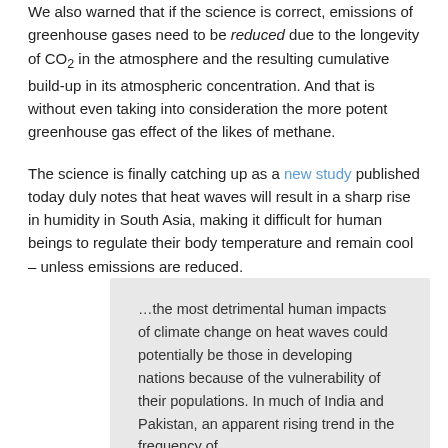We also warned that if the science is correct, emissions of greenhouse gases need to be reduced due to the longevity of CO2 in the atmosphere and the resulting cumulative build-up in its atmospheric concentration. And that is without even taking into consideration the more potent greenhouse gas effect of the likes of methane.
The science is finally catching up as a new study published today duly notes that heat waves will result in a sharp rise in humidity in South Asia, making it difficult for human beings to regulate their body temperature and remain cool – unless emissions are reduced.
...the most detrimental human impacts of climate change on heat waves could potentially be those in developing nations because of the vulnerability of their populations. In much of India and Pakistan, an apparent rising trend in the frequency of